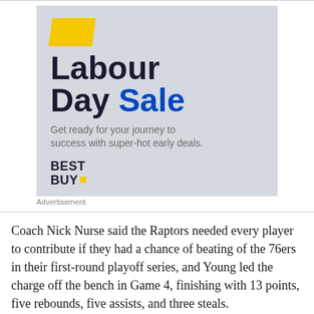[Figure (illustration): Best Buy Labour Day Sale advertisement. Grey background with yellow parallelogram shape in top-left corner. Large bold dark text reads 'Labour Day' and blue bold text reads 'Sale'. Subtext: 'Get ready for your journey to success with super-hot early deals.' Best Buy logo at bottom left with yellow dot.]
Advertisement
Coach Nick Nurse said the Raptors needed every player to contribute if they had a chance of beating of the 76ers in their first-round playoff series, and Young led the charge off the bench in Game 4, finishing with 13 points, five rebounds, five assists, and three steals.
He deflected praise, saying it was a team